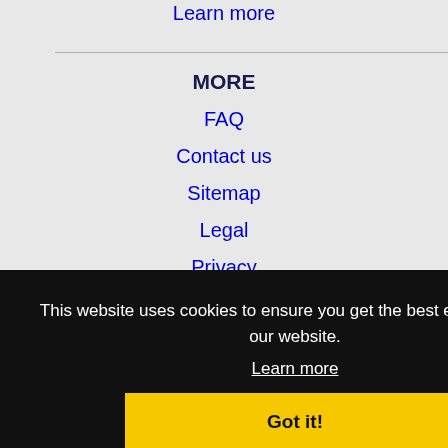Learn more
MORE
FAQ
Contact us
Sitemap
Legal
Privacy
This website uses cookies to ensure you get the best experience on our website.
Learn more
Got it!
NEARBY CITIES
Chapel Hill, NC Jobs
Durham, NC Jobs
Fayetteville, NC Jobs
Jacksonville, NC Jobs
Raleigh, NC Jobs
Rocky Mount, NC Jobs